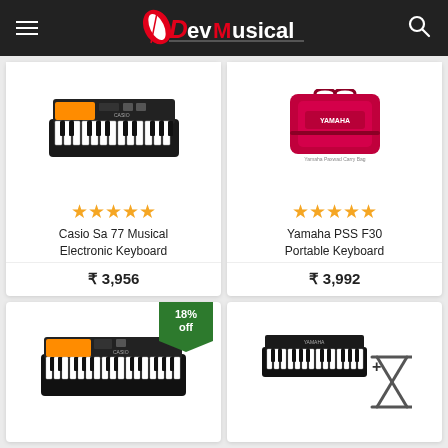DevMusical
[Figure (photo): Casio SA-77 electronic keyboard product image]
★★★★★
Casio Sa 77 Musical Electronic Keyboard
₹ 3,956
[Figure (photo): Yamaha PSS F30 portable keyboard with carry bag product image]
★★★★★
Yamaha PSS F30 Portable Keyboard
₹ 3,992
[Figure (photo): Casio keyboard product image with 18% off badge]
[Figure (photo): Yamaha keyboard with stand product image]